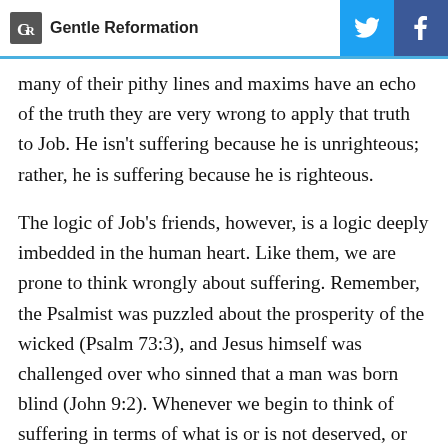Gentle Reformation
many of their pithy lines and maxims have an echo of the truth they are very wrong to apply that truth to Job. He isn't suffering because he is unrighteous; rather, he is suffering because he is righteous.
The logic of Job's friends, however, is a logic deeply imbedded in the human heart. Like them, we are prone to think wrongly about suffering. Remember, the Psalmist was puzzled about the prosperity of the wicked (Psalm 73:3), and Jesus himself was challenged over who sinned that a man was born blind (John 9:2). Whenever we begin to think of suffering in terms of what is or is not deserved, or are directed by some form of karma, or declare that what